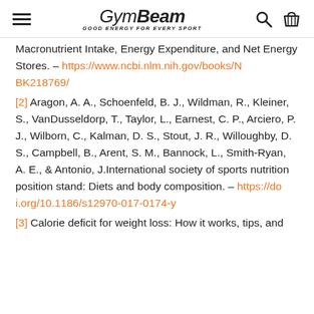GymBeam - GOOD ENERGY FOR EVERY SPORT
Macronutrient Intake, Energy Expenditure, and Net Energy Stores. – https://www.ncbi.nlm.nih.gov/books/NBK218769/
[2] Aragon, A. A., Schoenfeld, B. J., Wildman, R., Kleiner, S., VanDusseldorp, T., Taylor, L., Earnest, C. P., Arciero, P. J., Wilborn, C., Kalman, D. S., Stout, J. R., Willoughby, D. S., Campbell, B., Arent, S. M., Bannock, L., Smith-Ryan, A. E., & Antonio, J.International society of sports nutrition position stand: Diets and body composition. – https://doi.org/10.1186/s12970-017-0174-y
[3] Calorie deficit for weight loss: How it works, tips, and